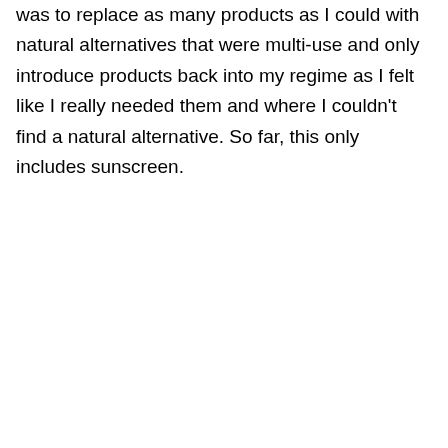was to replace as many products as I could with natural alternatives that were multi-use and only introduce products back into my regime as I felt like I really needed them and where I couldn't find a natural alternative. So far, this only includes sunscreen.